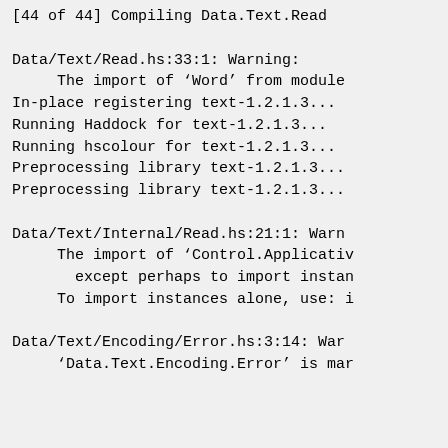[44 of 44] Compiling Data.Text.Read
Data/Text/Read.hs:33:1: Warning:
    The import of ‘Word’ from module
In-place registering text-1.2.1.3...
Running Haddock for text-1.2.1.3...
Running hscolour for text-1.2.1.3...
Preprocessing library text-1.2.1.3...
Preprocessing library text-1.2.1.3...
Data/Text/Internal/Read.hs:21:1: Warn
    The import of ‘Control.Applicativ
      except perhaps to import instan
    To import instances alone, use: i
Data/Text/Encoding/Error.hs:3:14: War
    ‘Data.Text.Encoding.Error’ is mar